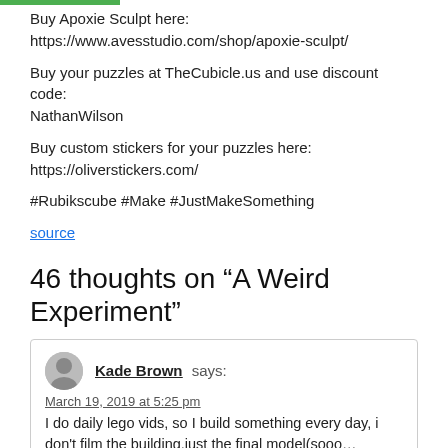Buy Apoxie Sculpt here:
https://www.avesstudio.com/shop/apoxie-sculpt/
Buy your puzzles at TheCubicle.us and use discount code:
NathanWilson
Buy custom stickers for your puzzles here:
https://oliverstickers.com/
#Rubikscube #Make #JustMakeSomething
source
46 thoughts on “A Weird Experiment”
Kade Brown says:
March 19, 2019 at 5:25 pm
I do daily lego vids, so I build something every day, i don’t film the building,just the final model(sooo… don...!!!)